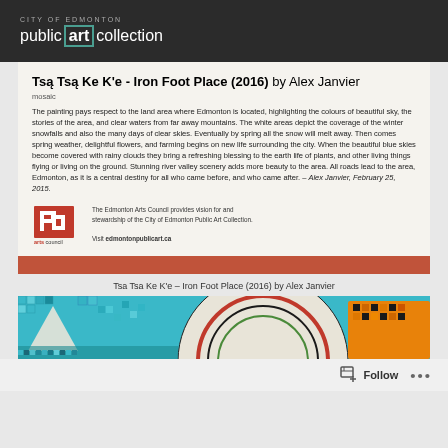CITY OF EDMONTON public art collection
Tsą Tsą Ke K'e - Iron Foot Place (2016) by Alex Janvier
mosaic
The painting pays respect to the land area where Edmonton is located, highlighting the colours of beautiful sky, the stories of the area, and clear waters from far away mountains. The white areas depict the coverage of the winter snowfalls and also the many days of clear skies. Eventually by spring all the snow will melt away. Then comes spring weather, delightful flowers, and farming begins on new life surrounding the city. When the beautiful blue skies become covered with rainy clouds they bring a refreshing blessing to the earth life of plants, and other living things flying or living on the ground. Stunning river valley scenery adds more beauty to the area. All roads lead to the area, Edmonton, as it is a central destiny for all who came before, and who came after. – Alex Janvier, February 25, 2015.
The Edmonton Arts Council provides vision for and stewardship of the City of Edmonton Public Art Collection.
Visit edmontonpublicart.ca
Tsa Tsa Ke K'e – Iron Foot Place (2016) by Alex Janvier
[Figure (photo): Mosaic artwork strip showing colourful tiles in teal, orange, red, white and black patterns]
Follow